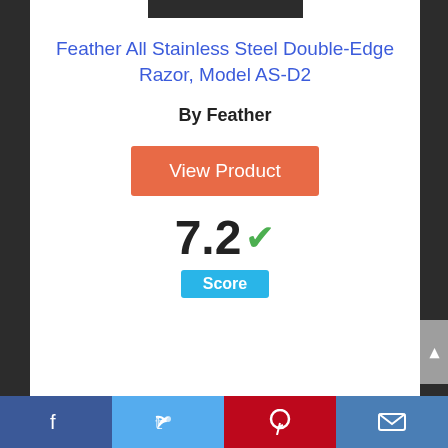[Figure (photo): Product image placeholder (dark rectangle) at top of card]
Feather All Stainless Steel Double-Edge Razor, Model AS-D2
By Feather
[Figure (other): Orange 'View Product' button]
7.2 ✓ Score
[Figure (other): Circle badge with number 8]
Facebook | Twitter | Pinterest | Email social share bar